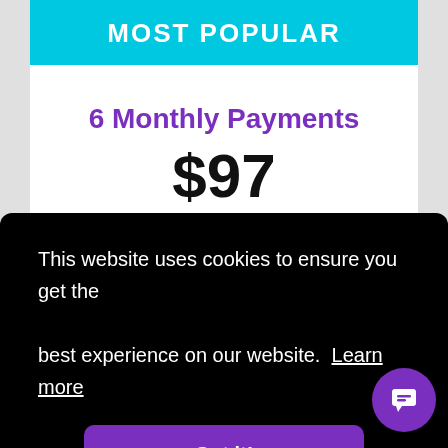MOST POPULAR
6 Monthly Payments
$97
per month for 6 months
This website uses cookies to ensure you get the best experience on our website. Learn more
Got it!